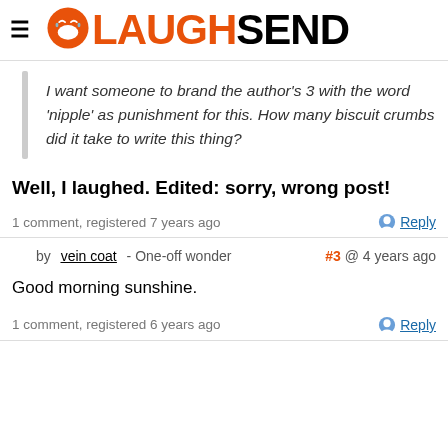LAUGHSEND
I want someone to brand the author's 3 with the word 'nipple' as punishment for this. How many biscuit crumbs did it take to write this thing?
Well, I laughed. Edited: sorry, wrong post!
1 comment, registered 7 years ago
by vein coat - One-off wonder  #3 @ 4 years ago
Good morning sunshine.
1 comment, registered 6 years ago